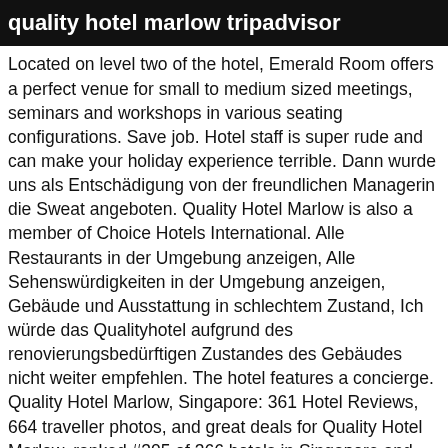quality hotel marlow tripadvisor
Located on level two of the hotel, Emerald Room offers a perfect venue for small to medium sized meetings, seminars and workshops in various seating configurations. Save job. Hotel staff is super rude and can make your holiday experience terrible. Dann wurde uns als Entschädigung von der freundlichen Managerin die Sweat angeboten. Quality Hotel Marlow is also a member of Choice Hotels International. Alle Restaurants in der Umgebung anzeigen, Alle Sehenswürdigkeiten in der Umgebung anzeigen, Gebäude und Ausstattung in schlechtem Zustand, Ich würde das Qualityhotel aufgrund des renovierungsbedürftigen Zustandes des Gebäudes nicht weiter empfehlen. The hotel features a concierge. Quality Hotel Marlow, Singapore: 361 Hotel Reviews, 664 traveller photos, and great deals for Quality Hotel Marlow, ranked #305 of 366 hotels in Singapore and rated 3 of 5 at Tripadvisor. mehr. Sehr positiv hervorzuheben ist allerdings du Freundlichkeit und Hilfsbereitschaft des Personals sowie das ausgezeichnete Frühstück. Tan Tock Seng Hospital is 0.6 mi from